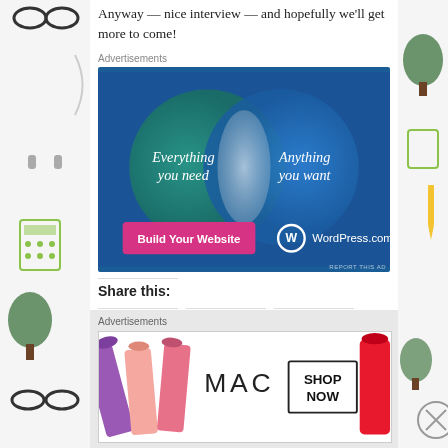Anyway — nice interview — and hopefully we'll get more to come!
Advertisements
[Figure (infographic): WordPress.com advertisement showing a Venn diagram with two circles on a dark blue background. Left circle (teal/green): 'Everything you need', Right circle (blue): 'Anything you want'. Overlapping area is light. Bottom left: pink/magenta button 'Build Your Website'. Bottom right: WordPress logo and WordPress.com text.]
REPORT THIS AD
Share this:
Advertisements
[Figure (photo): MAC cosmetics advertisement showing colorful lipsticks on the left side, MAC brand name in center, and a 'SHOP NOW' button on the right, with red lipstick on the far right.]